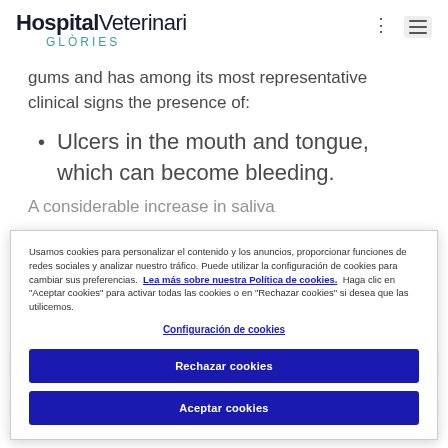Hospital Veterinari Glòries
gums and has among its most representative clinical signs the presence of:
Ulcers in the mouth and tongue, which can become bleeding.
A considerable increase in saliva
Usamos cookies para personalizar el contenido y los anuncios, proporcionar funciones de redes sociales y analizar nuestro tráfico. Puede utilizar la configuración de cookies para cambiar sus preferencias. Lea más sobre nuestra Política de cookies. Haga clic en "Aceptar cookies" para activar todas las cookies o en "Rechazar cookies" si desea que las utilicemos.
Configuración de cookies
Rechazar cookies
Aceptar cookies